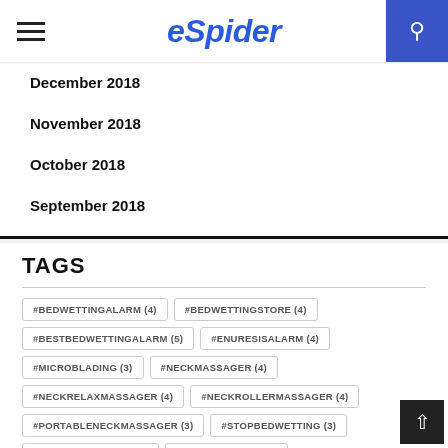eSpider
December 2018
November 2018
October 2018
September 2018
TAGS
#BEDWETTINGALARM (4)
#BEDWETTINGSTORE (4)
#BESTBEDWETTINGALARM (5)
#ENURESISALARM (4)
#MICROBLADING (3)
#NECKMASSAGER (4)
#NECKRELAXMASSAGER (4)
#NECKROLLERMASSAGER (4)
#PORTABLENECKMASSAGER (3)
#STOPBEDWETTING (3)
ADELAIDE SIGNAGE (4)
ADELAIDE SIGNS (3)